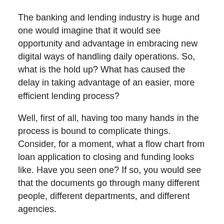The banking and lending industry is huge and one would imagine that it would see opportunity and advantage in embracing new digital ways of handling daily operations. So, what is the hold up? What has caused the delay in taking advantage of an easier, more efficient lending process?
Well, first of all, having too many hands in the process is bound to complicate things. Consider, for a moment, what a flow chart from loan application to closing and funding looks like. Have you seen one? If so, you would see that the documents go through many different people, different departments, and different agencies.
Here is an example of some of steps necessary for the lending process:
Customer engagement and application
Credit analysis